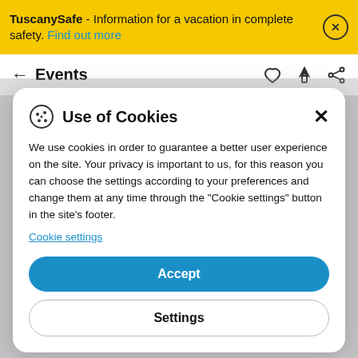TuscanySafe - Information for a vacation in complete safety. Find out more
← Events
Pistoia
Use of Cookies
We use cookies in order to guarantee a better user experience on the site. Your privacy is important to us, for this reason you can choose the settings according to your preferences and change them at any time through the "Cookie settings" button in the site's footer.
Cookie settings
Accept
Settings